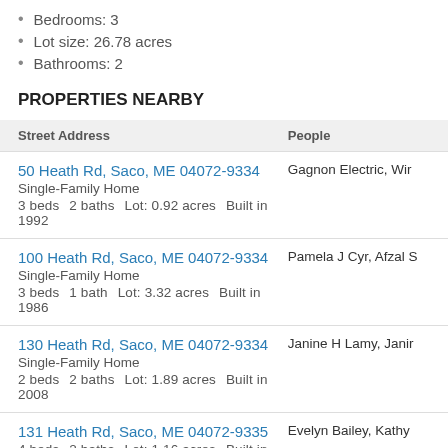Bedrooms: 3
Lot size: 26.78 acres
Bathrooms: 2
PROPERTIES NEARBY
| Street Address | People |
| --- | --- |
| 50 Heath Rd, Saco, ME 04072-9334
Single-Family Home
3 beds  2 baths  Lot: 0.92 acres  Built in 1992 | Gagnon Electric, Wir... |
| 100 Heath Rd, Saco, ME 04072-9334
Single-Family Home
3 beds  1 bath  Lot: 3.32 acres  Built in 1986 | Pamela J Cyr, Afzal S... |
| 130 Heath Rd, Saco, ME 04072-9334
Single-Family Home
2 beds  2 baths  Lot: 1.89 acres  Built in 2008 | Janine H Lamy, Janir... |
| 131 Heath Rd, Saco, ME 04072-9335
4 beds  2 baths  Lot: 1.16 acres  Built in 1977 | Evelyn Bailey, Kathy ... |